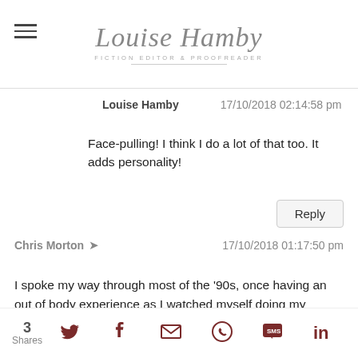Louise Hamby - Fiction Editor & Proofreader
Louise Hamby   17/10/2018 02:14:58 pm
Face-pulling! I think I do a lot of that too. It adds personality!
Reply
Chris Morton   17/10/2018 01:17:50 pm
I spoke my way through most of the '90s, once having an out of body experience as I watched myself doing my schtick on autopilot. Speaking is very rewarding.
You speak of memory-triggering slides. Right-on. My tip is to include brief speaker notes for each
3 Shares